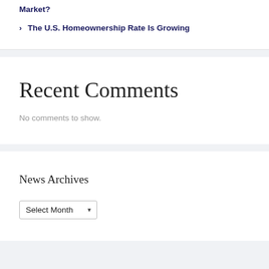Market?
The U.S. Homeownership Rate Is Growing
Recent Comments
No comments to show.
News Archives
Select Month